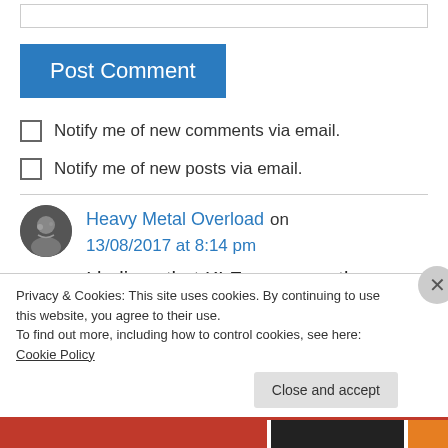[Figure (screenshot): Input text box (partially visible at top)]
Post Comment
Notify me of new comments via email.
Notify me of new posts via email.
Heavy Metal Overload on 13/08/2017 at 8:14 pm
I believe that KLF are currently planning some
Privacy & Cookies: This site uses cookies. By continuing to use this website, you agree to their use.
To find out more, including how to control cookies, see here: Cookie Policy
Close and accept